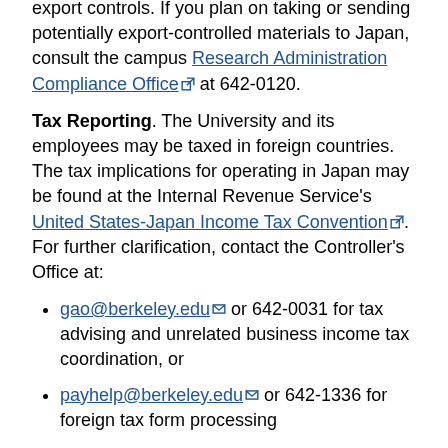export controls. If you plan on taking or sending potentially export-controlled materials to Japan, consult the campus Research Administration Compliance Office at 642-0120.
Tax Reporting. The University and its employees may be taxed in foreign countries. The tax implications for operating in Japan may be found at the Internal Revenue Service's United States-Japan Income Tax Convention. For further clarification, contact the Controller's Office at:
gao@berkeley.edu or 642-0031 for tax advising and unrelated business income tax coordination, or
payhelp@berkeley.edu or 642-1336 for foreign tax form processing
Foreign Bank Account Reporting. The U.S. Treasury Department requires U.S. citizens with a financial interest in or signatory authority over a financial account in a foreign country, where accounts exceed $10,000 at any point during a calendar year, to report such accounts on a Report of Foreign Bank and Financial Accounts (FinCen Report 114). Those needing to complete the form should contact the